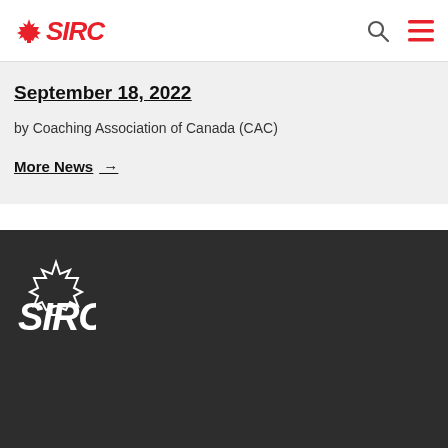SIRC
September 18, 2022
by Coaching Association of Canada (CAC)
More News →
[Figure (logo): SIRC white logo with maple leaf on dark background footer]